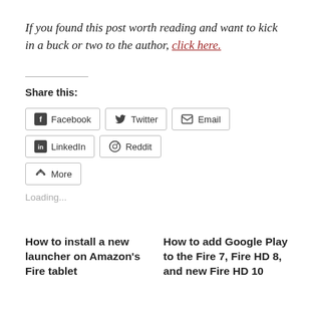If you found this post worth reading and want to kick in a buck or two to the author, click here.
Share this:
Facebook Twitter Email LinkedIn Reddit More
Loading...
How to install a new launcher on Amazon's Fire tablet
How to add Google Play to the Fire 7, Fire HD 8, and new Fire HD 10